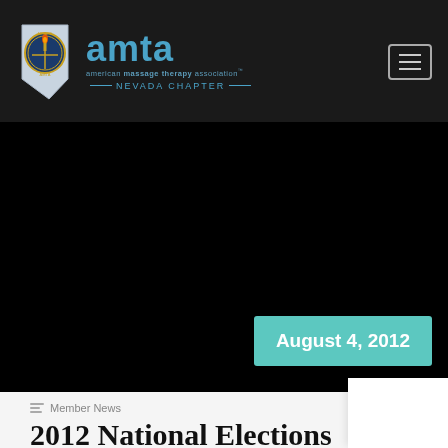AMTA Nevada Chapter — american massage therapy association NEVADA CHAPTER
[Figure (screenshot): AMTA Nevada Chapter website header with logo, wordmark, and dark hero image area]
August 4, 2012
Member News
2012 National Elections Candidates